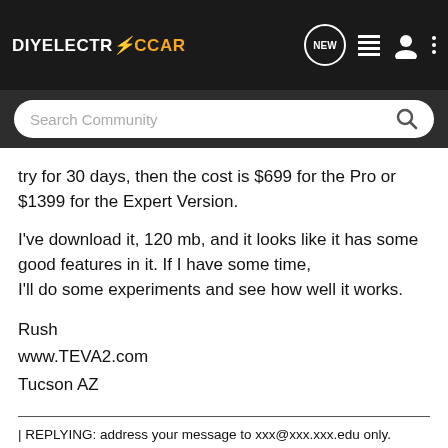[Figure (logo): DIYElectricCar website header with logo, search bar, and navigation icons]
try for 30 days, then the cost is $699 for the Pro or $1399 for the Expert Version.
I've download it, 120 mb, and it looks like it has some good features in it. If I have some time,
I'll do some experiments and see how well it works.
Rush
www.TEVA2.com
Tucson AZ
| REPLYING: address your message to xxx@xxx.xxx.edu only.
| Multiple-address or CCed messages may be rejected.
| UNSUBSCRIBE: http://www.evdl.org/help/index.html#usub